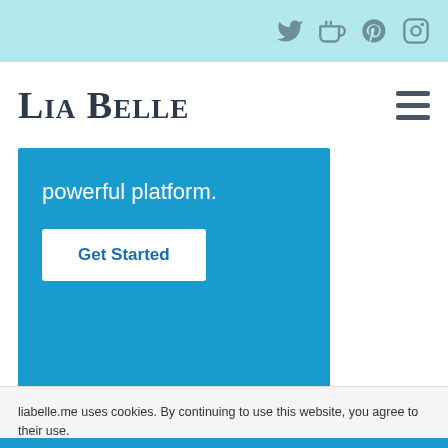Social icons: Twitter, Coffee/Ko-fi, Pinterest, Instagram
Lia Belle
powerful platform.
Get Started
liabelle.me uses cookies. By continuing to use this website, you agree to their use.
To find out more, including how to control cookies, see here: Privacy & Cookies
Close and accept